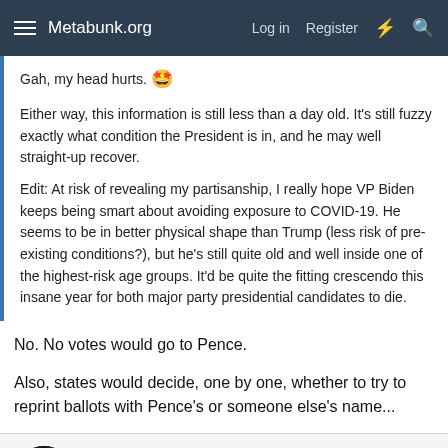Metabunk.org  Log in  Register
Gah, my head hurts. 😲
Either way, this information is still less than a day old. It's still fuzzy exactly what condition the President is in, and he may well straight-up recover.
Edit: At risk of revealing my partisanship, I really hope VP Biden keeps being smart about avoiding exposure to COVID-19. He seems to be in better physical shape than Trump (less risk of pre-existing conditions?), but he's still quite old and well inside one of the highest-risk age groups. It'd be quite the fitting crescendo this insane year for both major party presidential candidates to die.
No. No votes would go to Pence.
Also, states would decide, one by one, whether to try to reprint ballots with Pence's or someone else's name...
deirdre
Senior Member.